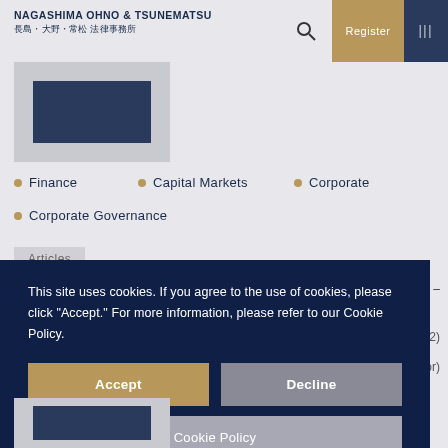NAGASHIMA OHNO & TSUNEMATSU 長島・大野・常松 法律事務所
[Figure (screenshot): Partial image placeholder with dark blue rectangle on gray background]
Finance
Capital Markets
Corporate
Corporate Governance
Articles
This site uses cookies. If you agree to the use of cookies, please click "Accept." For more information, please refer to our Cookie Policy.
Accept
Decline
Cookie Policy
nies — (2022) thor)
[Figure (screenshot): Partial image at bottom, dark blue rectangle on gray background]